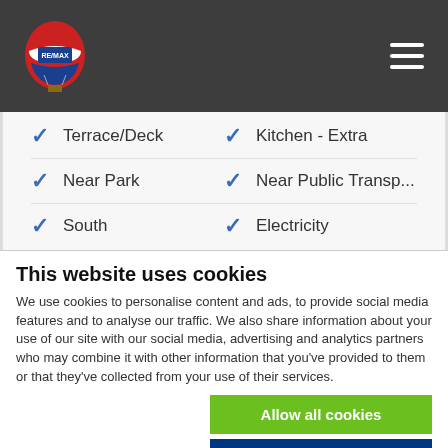[Figure (logo): RE/MAX logo with hot air balloon in red, white and blue]
Terrace/Deck
Kitchen - Extra
Near Park
Near Public Transp...
South
Electricity
This website uses cookies
We use cookies to personalise content and ads, to provide social media features and to analyse our traffic. We also share information about your use of our site with our social media, advertising and analytics partners who may combine it with other information that you've provided to them or that they've collected from your use of their services.
Allow all cookies
Allow selection
Use necessary cookies only
Necessary  Preferences  Statistics  Marketing  Show details